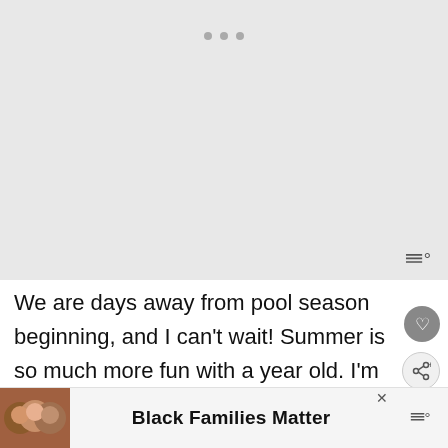[Figure (photo): Large gray placeholder image area at top of page with three dot pagination indicators]
We are days away from pool season beginning, and I can’t wait! Summer is so much more fun with a year old. I’m not as excited about wearing a bathing suit this year, as I’m still in that awkward self-conscious stage about my growing (Strangely when it’s huge further along I’m less
[Figure (screenshot): What's Next popup showing While The Girls Are Aw... with circular photo]
[Figure (photo): Bottom ad banner showing Black Families Matter with photo of smiling family]
Black Families Matter